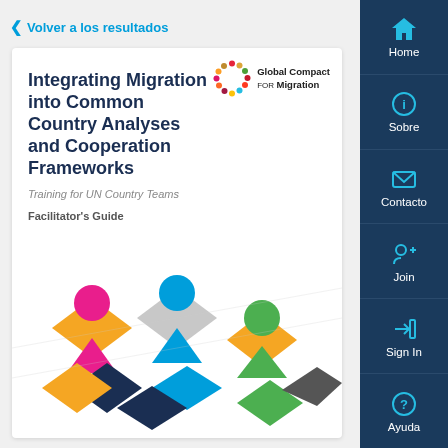< Volver a los resultados
[Figure (screenshot): Document cover page for 'Integrating Migration into Common Country Analyses and Cooperation Frameworks – Training for UN Country Teams, Facilitator's Guide' with Global Compact for Migration logo and colorful geometric illustration of people figures]
[Figure (other): Sidebar navigation with Home, Sobre, Contacto, Join, Sign In, Ayuda buttons]